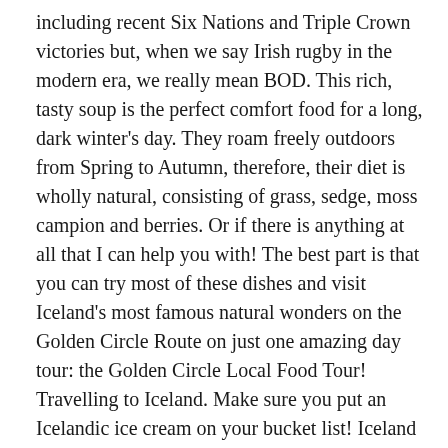including recent Six Nations and Triple Crown victories but, when we say Irish rugby in the modern era, we really mean BOD. This rich, tasty soup is the perfect comfort food for a long, dark winter's day. They roam freely outdoors from Spring to Autumn, therefore, their diet is wholly natural, consisting of grass, sedge, moss campion and berries. Or if there is anything at all that I can help you with! The best part is that you can try most of these dishes and visit Iceland's most famous natural wonders on the Golden Circle Route on just one amazing day tour: the Golden Circle Local Food Tour! Travelling to Iceland. Make sure you put an Icelandic ice cream on your bucket list! Iceland has many campaigns for health and wellbeing, including the famous television show Lazytown, starring and created by former gymnastics champion Magnus Scheving. Let us introduce you the most amazing natural wonders that can be found in Iceland! By Diana Henry. You will see it